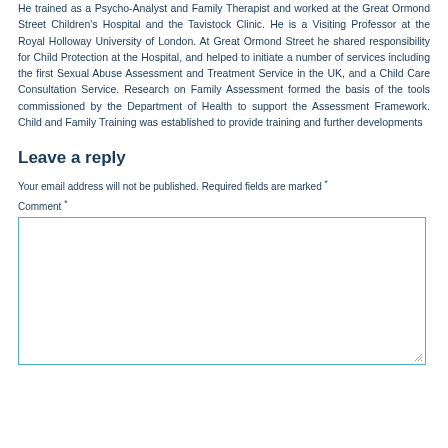He trained as a Psycho-Analyst and Family Therapist and worked at the Great Ormond Street Children's Hospital and the Tavistock Clinic. He is a Visiting Professor at the Royal Holloway University of London. At Great Ormond Street he shared responsibility for Child Protection at the Hospital, and helped to initiate a number of services including the first Sexual Abuse Assessment and Treatment Service in the UK, and a Child Care Consultation Service. Research on Family Assessment formed the basis of the tools commissioned by the Department of Health to support the Assessment Framework. Child and Family Training was established to provide training and further developments
Leave a reply
Your email address will not be published. Required fields are marked *
Comment *